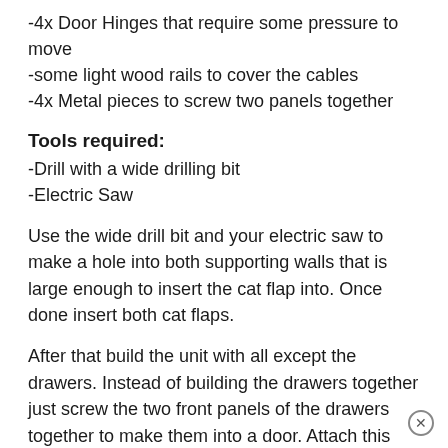-4x Door Hinges that require some pressure to move
-some light wood rails to cover the cables
-4x Metal pieces to screw two panels together
Tools required:
-Drill with a wide drilling bit
-Electric Saw
Use the wide drill bit and your electric saw to make a hole into both supporting walls that is large enough to insert the cat flap into. Once done insert both cat flaps.
After that build the unit with all except the drawers. Instead of building the drawers together just screw the two front panels of the drawers together to make them into a door. Attach this door to the unit by using hinges at the bottom and magnets at the top of the door. Use more magnets on the bottom